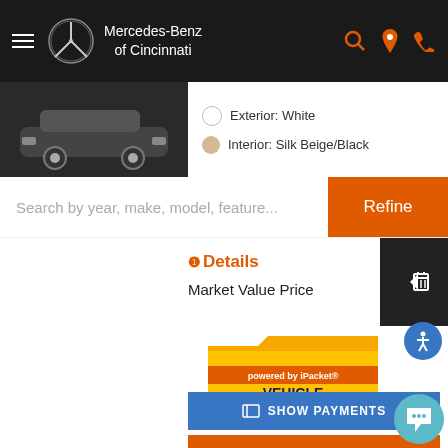Mercedes-Benz of Cincinnati
Exterior: White
Interior: Silk Beige/Black
Search by year, make, model, feature...
Refine
Details
Market Value Price $4
[Figure (logo): iPacket Vehicle Records logo - yellow folder graphic with text 'powered by iPacket* VEHICLE RECORDS']
SHOW PAYMENTS
Get More Info
Value My Trade